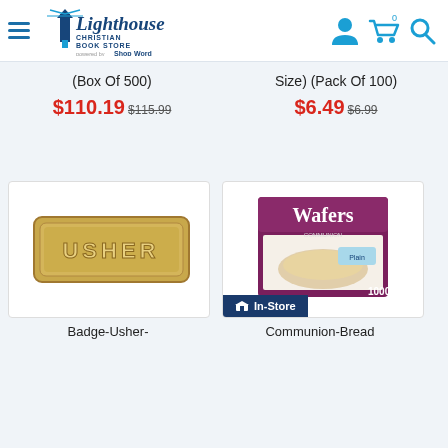[Figure (logo): Lighthouse Christian Book Store logo with hamburger menu, powered by ShopTheWord, and header icons (person, cart, search)]
(Box Of 500)
Size) (Pack Of 100)
$110.19 $115.99
$6.49 $6.99
[Figure (photo): Gold USHER badge/pin]
[Figure (photo): Communion Bread Wafers box (1000 count) with In-Store badge]
Badge-Usher-
Communion-Bread